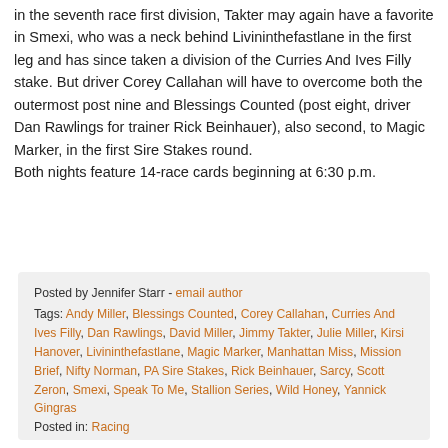in the seventh race first division, Takter may again have a favorite in Smexi, who was a neck behind Livininthefastlane in the first leg and has since taken a division of the Curries And Ives Filly stake. But driver Corey Callahan will have to overcome both the outermost post nine and Blessings Counted (post eight, driver Dan Rawlings for trainer Rick Beinhauer), also second, to Magic Marker, in the first Sire Stakes round. Both nights feature 14-race cards beginning at 6:30 p.m.
Posted by Jennifer Starr - email author
Tags: Andy Miller, Blessings Counted, Corey Callahan, Curries And Ives Filly, Dan Rawlings, David Miller, Jimmy Takter, Julie Miller, Kirsi Hanover, Livininthefastlane, Magic Marker, Manhattan Miss, Mission Brief, Nifty Norman, PA Sire Stakes, Rick Beinhauer, Sarcy, Scott Zeron, Smexi, Speak To Me, Stallion Series, Wild Honey, Yannick Gingras
Posted in: Racing